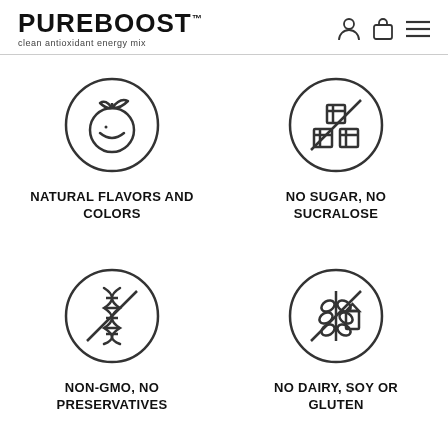PUREBOOST clean antioxidant energy mix
[Figure (illustration): Circle icon with a fruit (orange/citrus) inside]
NATURAL FLAVORS AND COLORS
[Figure (illustration): Circle with a no-sugar symbol (sugar cubes with a slash)]
NO SUGAR, NO SUCRALOSE
[Figure (illustration): Circle with a non-GMO symbol (DNA helix with a slash)]
NON-GMO, NO PRESERVATIVES
[Figure (illustration): Circle with a no-dairy/soy/gluten symbol (wheat and milk with a slash)]
NO DAIRY, SOY OR GLUTEN